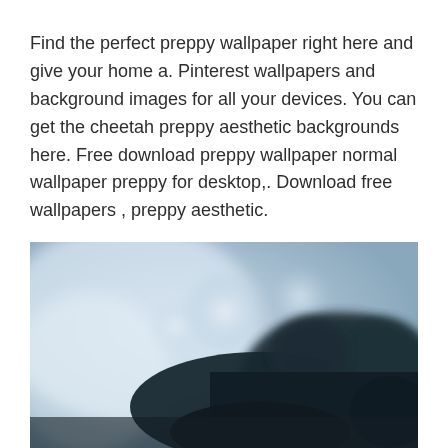Find the perfect preppy wallpaper right here and give your home a. Pinterest wallpapers and background images for all your devices. You can get the cheetah preppy aesthetic backgrounds here. Free download preppy wallpaper normal wallpaper preppy for desktop,. Download free wallpapers , preppy aesthetic.
[Figure (photo): Blurry bokeh photo showing dark silhouetted shapes (possibly a cat or animal) against a soft light blue-grey background with circular bokeh light spots]